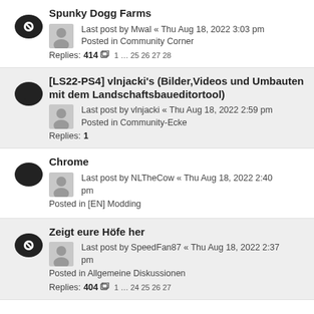Spunky Dogg Farms — Last post by Mwal « Thu Aug 18, 2022 3:03 pm — Posted in Community Corner — Replies: 414 — 1 … 25 26 27 28
[LS22-PS4] vlnjacki's (Bilder,Videos und Umbauten mit dem Landschaftsbaueditortool) — Last post by vlnjacki « Thu Aug 18, 2022 2:59 pm — Posted in Community-Ecke — Replies: 1
Chrome — Last post by NLTheCow « Thu Aug 18, 2022 2:40 pm — Posted in [EN] Modding
Zeigt eure Höfe her — Last post by SpeedFan87 « Thu Aug 18, 2022 2:37 pm — Posted in Allgemeine Diskussionen — Replies: 404 — 1 … 24 25 26 27